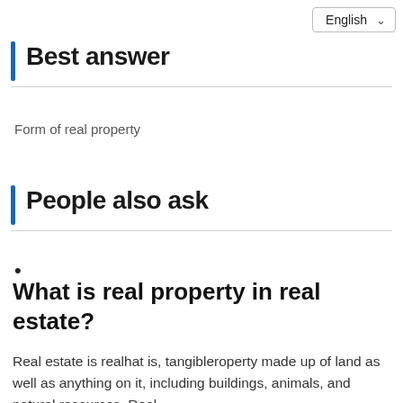[Figure (other): Language selector dropdown showing 'English' with a chevron arrow]
Best answer
Form of real property
People also ask
What is real property in real estate?
Real estate is real­hat is, tangible­roperty made up of land as well as anything on it, including buildings, animals, and natural resources. Real